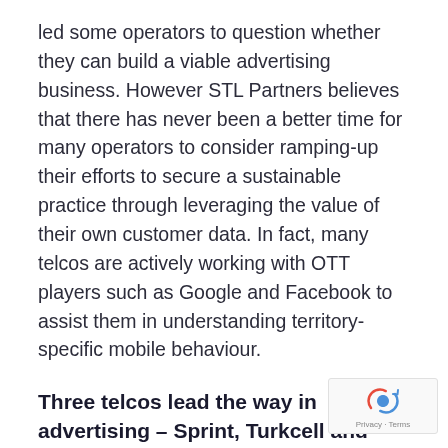led some operators to question whether they can build a viable advertising business. However STL Partners believes that there has never been a better time for many operators to consider ramping-up their efforts to secure a sustainable practice through leveraging the value of their own customer data. In fact, many telcos are actively working with OTT players such as Google and Facebook to assist them in understanding territory-specific mobile behaviour.
Three telcos lead the way in advertising – Sprint, Turkcell and SingTel – and provide important lessons for others